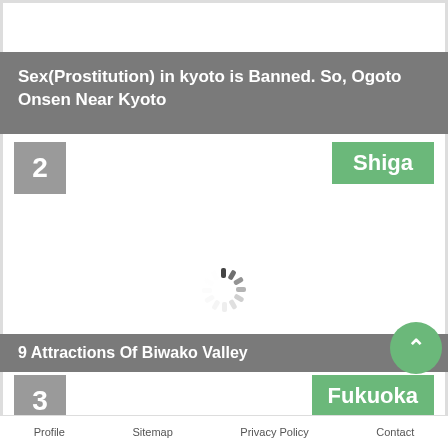Sex(Prostitution) in kyoto is Banned. So, Ogoto Onsen Near Kyoto
2
Shiga
[Figure (other): Loading spinner / circular progress indicator]
9 Attractions Of Biwako Valley
3
Fukuoka
Profile  Sitemap  Privacy Policy  Contact